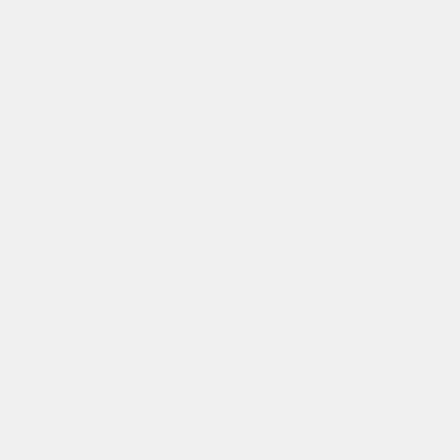_ga=1.021000222.940000470.1470101140|8-Color Designed for Minimal Compensation]]
* [[http://static.bdbiosciences.com/docu X20-Protocol-4-Color-Panels-Minimal-Spectr Overlap.pdf? _ga=1.111997196.945356473.1478101143|4-Col Panels Minimal Spectral Overlap]]
* [[http://static.bdbiosciences.com/docu X20-Protocol-8-Color-Panels-for-Mesenchyma Stromal-Cells.pdf? _ga=1.111997196.945356473.1478101143|8-Col Panels for Mesenchymal Stromal Cells]]
-
===== Educational Websites =====
Line 24:
<html><a href="https://www.thermofisher.co home/life-science/cell-analysis/flow-cytom antibodies-for-flow-cytometry/flow-cytomet panel-builder.html"><img src="/facility/ flowcytometry/lib/exe/fetch.php?media=ther